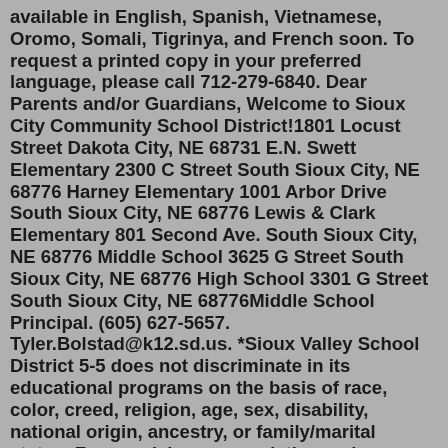available in English, Spanish, Vietnamese, Oromo, Somali, Tigrinya, and French soon. To request a printed copy in your preferred language, please call 712-279-6840. Dear Parents and/or Guardians, Welcome to Sioux City Community School District!1801 Locust Street Dakota City, NE 68731 E.N. Swett Elementary 2300 C Street South Sioux City, NE 68776 Harney Elementary 1001 Arbor Drive South Sioux City, NE 68776 Lewis & Clark Elementary 801 Second Ave. South Sioux City, NE 68776 Middle School 3625 G Street South Sioux City, NE 68776 High School 3301 G Street South Sioux City, NE 68776Middle School Principal. (605) 627-5657. Tyler.Bolstad@k12.sd.us. *Sioux Valley School District 5-5 does not discriminate in its educational programs on the basis of race, color, creed, religion, age, sex, disability, national origin, ancestry, or family/marital status. For special accommodations, please contact the Special Education Director ... DVMS 2018-19 Student Supplies Lists (please click here to view). Logo link to home page. North Sioux